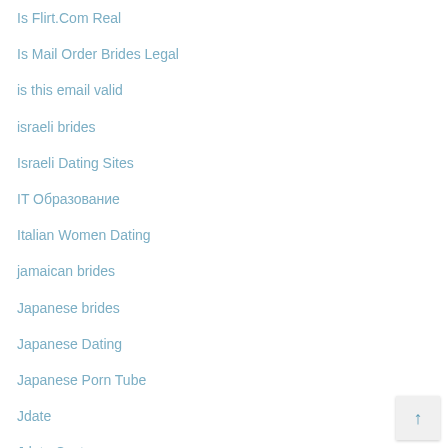Is Flirt.Com Real
Is Mail Order Brides Legal
is this email valid
israeli brides
Israeli Dating Sites
IT Образование
Italian Women Dating
jamaican brides
Japanese brides
Japanese Dating
Japanese Porn Tube
Jdate
Jdate Cost
Job